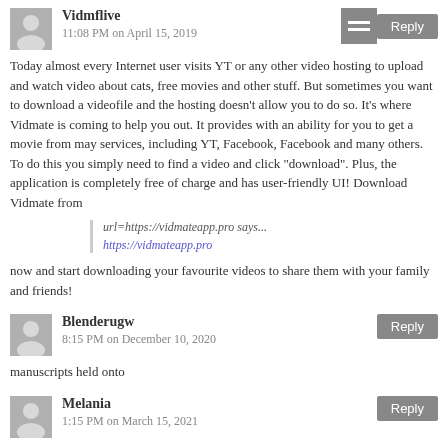Vidmflive
11:08 PM on April 15, 2019
Today almost every Internet user visits YT or any other video hosting to upload and watch video about cats, free movies and other stuff. But sometimes you want to download a videofile and the hosting doesn't allow you to do so. It's where Vidmate is coming to help you out. It provides with an ability for you to get a movie from may services, including YT, Facebook, Facebook and many others. To do this you simply need to find a video and click "download". Plus, the application is completely free of charge and has user-friendly UI! Download Vidmate from
url=https://vidmateapp.pro says...
https://vidmateapp.pro
now and start downloading your favourite videos to share them with your family and friends!
Blenderugw
8:15 PM on December 10, 2020
manuscripts held onto
Melania
1:15 PM on March 15, 2021
Hi! rate my sexy naked photos - https://bit.ly/3buzYko